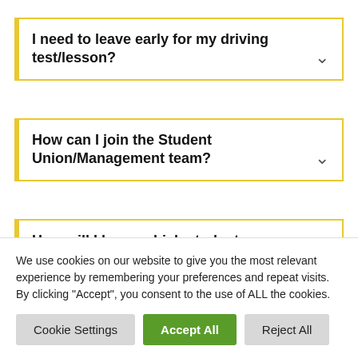I need to leave early for my driving test/lesson?
How can I join the Student Union/Management team?
How will I know which students are on the
We use cookies on our website to give you the most relevant experience by remembering your preferences and repeat visits. By clicking “Accept”, you consent to the use of ALL the cookies.